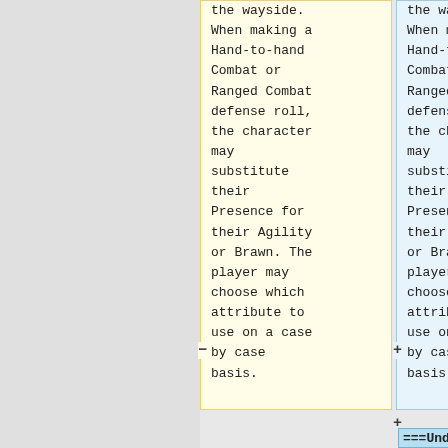the wayside. When making a Hand-to-hand Combat or Ranged Combat defense roll, the character may substitute their Presence for their Agility or Brawn. The player may choose which attribute to use on a case by case basis.
the wayside. When making a Hand-to-hand Combat or Ranged Combat defense roll, the character may substitute their Presence for their Agility or Brawn. The player may choose which attribute to use on a case by case basis.
===Underwater